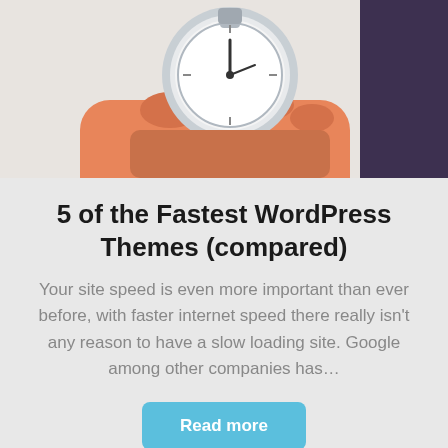[Figure (illustration): Illustration of a hand holding a stopwatch/timer, cartoon style with orange skin tones and blue-gray clock face, partially cropped at top of page. A dark purple rectangle is visible in the top-right corner.]
5 of the Fastest WordPress Themes (compared)
Your site speed is even more important than ever before, with faster internet speed there really isn't any reason to have a slow loading site. Google among other companies has…
Read more